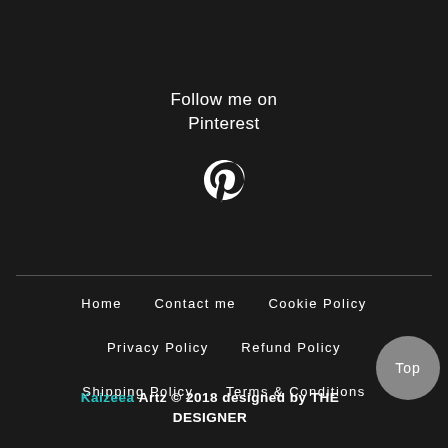Follow me on
Pinterest
[Figure (other): Pinterest logo icon (white P symbol on dark background)]
Home
Contact me
Cookie Policy
Privacy Policy
Refund Policy
Shipping Policy
Terms & Conditions
Kaizeea Artz © 2018 designed by THE DESIGNER